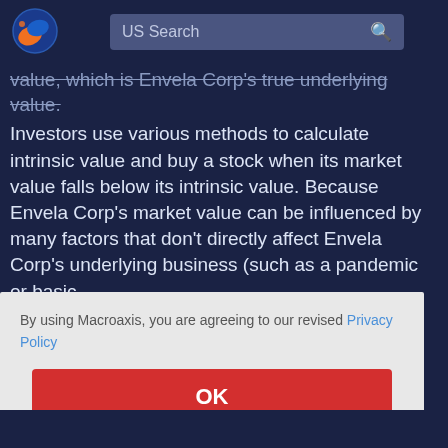[Figure (logo): Macroaxis globe logo with orange and blue colors]
US Search
value, which is Envela Corp's true underlying value.
Investors use various methods to calculate intrinsic value and buy a stock when its market value falls below its intrinsic value. Because Envela Corp's market value can be influenced by many factors that don't directly affect Envela Corp's underlying business (such as a pandemic or basic m
By using Macroaxis, you are agreeing to our revised Privacy Policy
OK